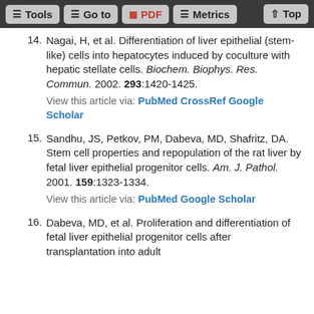Tools | Go to | PDF | Metrics | Top
14. Nagai, H, et al. Differentiation of liver epithelial (stem-like) cells into hepatocytes induced by coculture with hepatic stellate cells. Biochem. Biophys. Res. Commun. 2002. 293:1420-1425. View this article via: PubMed CrossRef Google Scholar
15. Sandhu, JS, Petkov, PM, Dabeva, MD, Shafritz, DA. Stem cell properties and repopulation of the rat liver by fetal liver epithelial progenitor cells. Am. J. Pathol. 2001. 159:1323-1334. View this article via: PubMed Google Scholar
16. Dabeva, MD, et al. Proliferation and differentiation of fetal liver epithelial progenitor cells after transplantation into adult